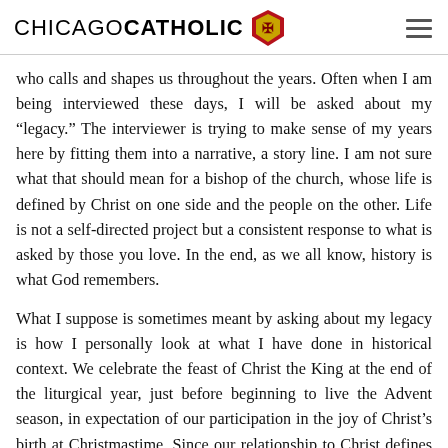CHICAGO CATHOLIC
who calls and shapes us throughout the years. Often when I am being interviewed these days, I will be asked about my “legacy.” The interviewer is trying to make sense of my years here by fitting them into a narrative, a story line. I am not sure what that should mean for a bishop of the church, whose life is defined by Christ on one side and the people on the other. Life is not a self-directed project but a consistent response to what is asked by those you love. In the end, as we all know, history is what God remembers.
What I suppose is sometimes meant by asking about my legacy is how I personally look at what I have done in historical context. We celebrate the feast of Christ the King at the end of the liturgical year, just before beginning to live the Advent season, in expectation of our participation in the joy of Christ’s birth at Christmastime. Since our relationship to Christ defines not just our personal lives but our sense of the history of the world, it can be spiritually